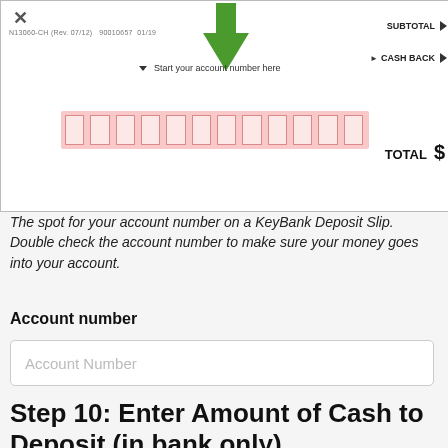[Figure (screenshot): Cropped image of a KeyBank Deposit Slip showing the account number field highlighted in pink with a green arrow pointing to it, and labels for SUBTOTAL, CASH BACK, and TOTAL on the right side.]
The spot for your account number on a KeyBank Deposit Slip. Double check the account number to make sure your money goes into your account.
Account number
Account Number
Step 10: Enter Amount of Cash to Deposit (in bank only)
Enter the amount of cash you will deposit. WARNING: only deposit cash at an ATM or in a bank branch, do not send